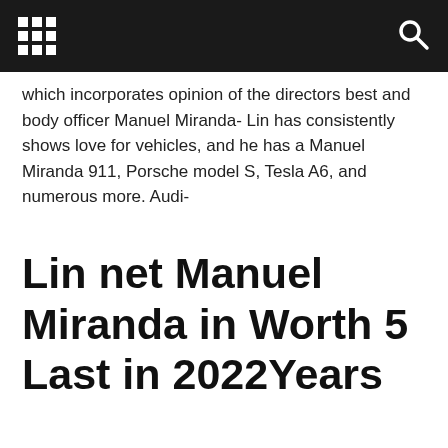which incorporates opinion of the directors best and body officer Manuel Miranda- Lin has consistently shows love for vehicles, and he has a Manuel Miranda 911, Porsche model S, Tesla A6, and numerous more. Audi-
Lin net Manuel Miranda in Worth 5 Last in 2022Years